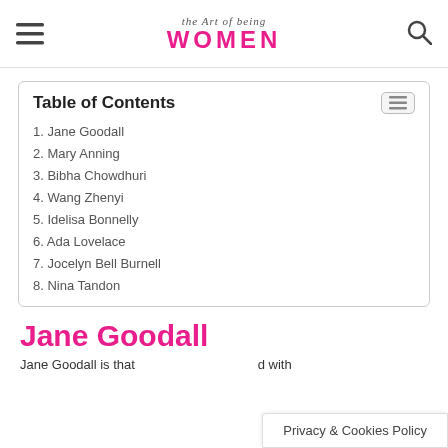the Art of being WOMEN
| Table of Contents |
| --- |
| 1. Jane Goodall |
| 2. Mary Anning |
| 3. Bibha Chowdhuri |
| 4. Wang Zhenyi |
| 5. Idelisa Bonnelly |
| 6. Ada Lovelace |
| 7. Jocelyn Bell Burnell |
| 8. Nina Tandon |
Jane Goodall
Jane Goodall is that...d with
Privacy & Cookies Policy